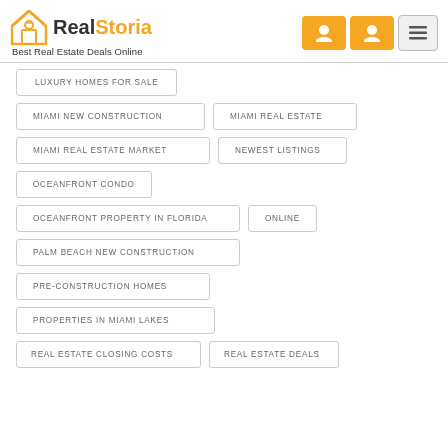RealStoria - Best Real Estate Deals Online
LUXURY HOMES FOR SALE
MIAMI NEW CONSTRUCTION
MIAMI REAL ESTATE
MIAMI REAL ESTATE MARKET
NEWEST LISTINGS
OCEANFRONT CONDO
OCEANFRONT PROPERTY IN FLORIDA
ONLINE
PALM BEACH NEW CONSTRUCTION
PRE-CONSTRUCTION HOMES
PROPERTIES IN MIAMI LAKES
REAL ESTATE CLOSING COSTS
REAL ESTATE DEALS